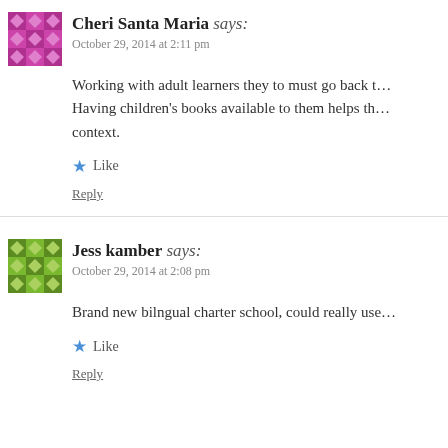Cheri Santa Maria says: October 29, 2014 at 2:11 pm
Working with adult learners they to must go back t… Having children's books available to them helps th… context.
Like
Reply
Jess kamber says: October 29, 2014 at 2:08 pm
Brand new bilngual charter school, could really use…
Like
Reply